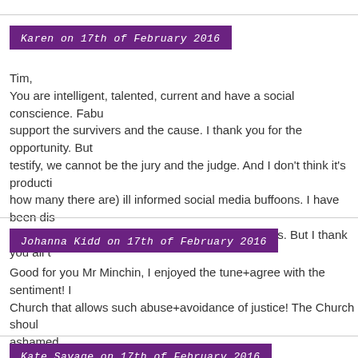Karen on 17th of February 2016
Tim,
You are intelligent, talented, current and have a social conscience. Fabu support the survivers and the cause. I thank you for the opportunity. But testify, we cannot be the jury and the judge. And I don't think it's producti how many there are) ill informed social media buffoons. I have been dis them. So I bought your tune with some reservations. But I thank you all t
Johanna Kidd on 17th of February 2016
Good for you Mr Minchin, I enjoyed the tune+agree with the sentiment! Church that allows such abuse+avoidance of justice! The Church shoul ashamed
Kate Savage on 17th of February 2016
Dear Tim, Thank you very much for your song. I appreciate all of your se get our wish and George Pell has to testify in front of the royal commissi evasive, then I really hope the victims are able to be there in person in